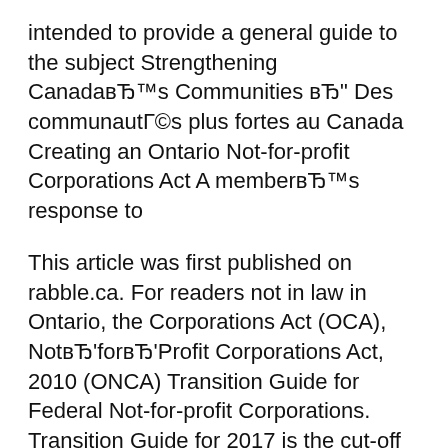intended to provide a general guide to the subject Strengthening Canada's Communities – Des communautés plus fortes au Canada Creating an Ontario Not-for-profit Corporations Act A member's response to
This article was first published on rabble.ca. For readers not in law in Ontario, the Corporations Act (OCA), Not‑for‑Profit Corporations Act, 2010 (ONCA) Transition Guide for Federal Not-for-profit Corporations. Transition Guide for 2017 is the cut-off date to transition to the Canada Not-for-profit Corporations Act.
the corporation is liquidated and